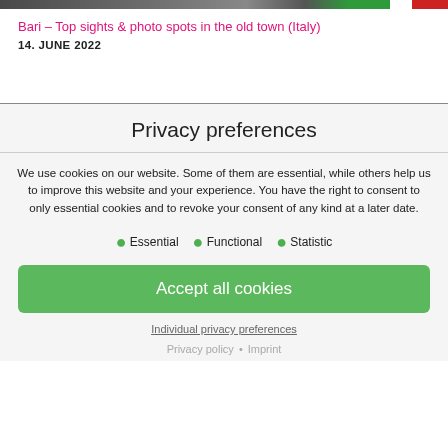[Figure (photo): Partial view of a travel blog image showing old town scenery with Italian flag colors visible on the right edge]
Bari – Top sights & photo spots in the old town (Italy)
14. JUNE 2022
Privacy preferences
We use cookies on our website. Some of them are essential, while others help us to improve this website and your experience. You have the right to consent to only essential cookies and to revoke your consent of any kind at a later date.
Essential
Functional
Statistic
Accept all cookies
Individual privacy preferences
Privacy policy • Imprint